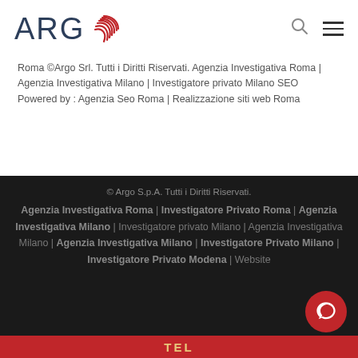[Figure (logo): ARGO logo with fingerprint-style circular icon in red, company name in dark blue thin letters]
Roma ©Argo Srl. Tutti i Diritti Riservati. Agenzia Investigativa Roma | Agenzia Investigativa Milano | Investigatore privato Milano SEO Powered by : Agenzia Seo Roma | Realizzazione siti web Roma
© Argo S.p.A. Tutti i Diritti Riservati.
Agenzia Investigativa Roma | Investigatore Privato Roma | Agenzia Investigativa Milano | Investigatore privato Milano | Agenzia Investigativa Milano | Agenzia Investigativa Milano | Investigatore Privato Milano | Investigatore Privato Modena | Website
TEL